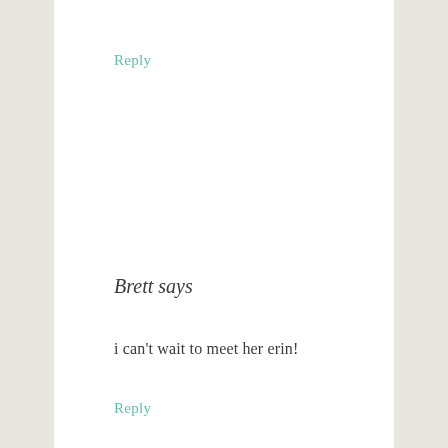Reply
Brett says
i can't wait to meet her erin!
Reply